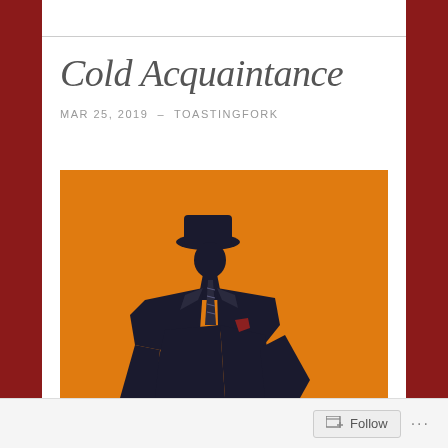Cold Acquaintance
MAR 25, 2019  –  TOASTINGFORK
[Figure (illustration): Stylized silhouette of a man in a suit and hat against a bright orange background, in a noir/retro illustration style]
Follow  ...